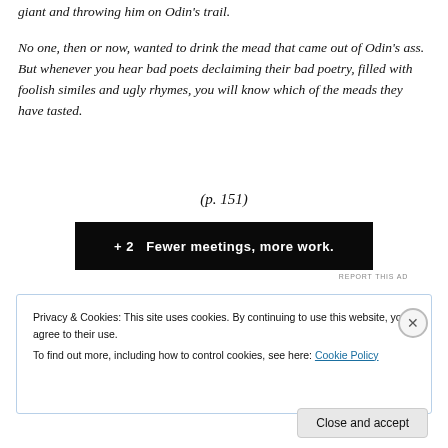giant and throwing him on Odin's trail.
No one, then or now, wanted to drink the mead that came out of Odin's ass. But whenever you hear bad poets declaiming their bad poetry, filled with foolish similes and ugly rhymes, you will know which of the meads they have tasted.
(p. 151)
[Figure (screenshot): Dark advertisement banner with white bold text partially visible: '+ 2   Fewer meetings, more work.']
REPORT THIS AD
Privacy & Cookies: This site uses cookies. By continuing to use this website, you agree to their use.
To find out more, including how to control cookies, see here: Cookie Policy
Close and accept